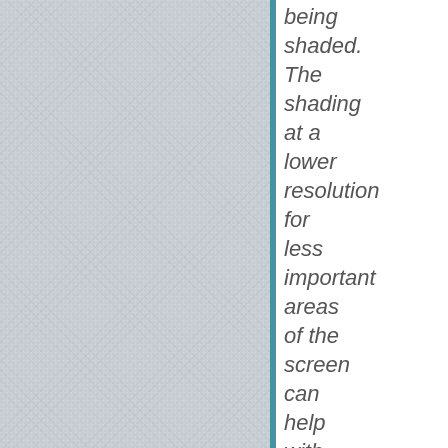[Figure (illustration): A light grey textured/fabric-like surface filling the left portion of the page, representing a screen or display surface being shaded. A blue vertical divider separates the image from the text.]
being shaded. The shading at a lower resolution for less important areas of the screen can help with increasing performance as well as power-savings.